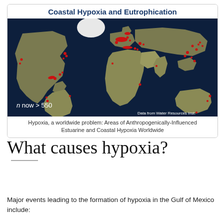Coastal Hypoxia and Eutrophication
[Figure (map): Satellite world map showing areas of anthropogenically-influenced estuarine and coastal hypoxia worldwide, marked with red spots. Annotation: n now > 550. Data from Water Resources Inst.]
Hypoxia, a worldwide problem: Areas of Anthropogenically-Influenced Estuarine and Coastal Hypoxia Worldwide
What causes hypoxia?
Major events leading to the formation of hypoxia in the Gulf of Mexico include: